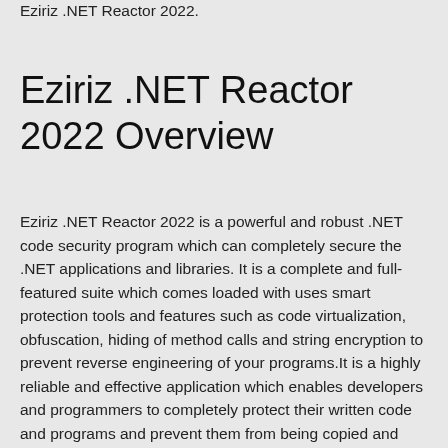Eziriz .NET Reactor 2022.
Eziriz .NET Reactor 2022 Overview
Eziriz .NET Reactor 2022 is a powerful and robust .NET code security program which can completely secure the .NET applications and libraries. It is a complete and full-featured suite which comes loaded with uses smart protection tools and features such as code virtualization, obfuscation, hiding of method calls and string encryption to prevent reverse engineering of your programs.It is a highly reliable and effective application which enables developers and programmers to completely protect their written code and programs and prevent them from being copied and exploited.It is the ultimate application which offers full protection for applications build with ASP.NET,Silverlight, Windows Phone, Windows Forms